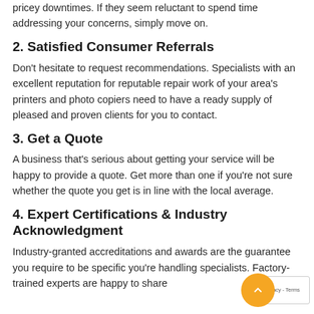pricey downtimes. If they seem reluctant to spend time addressing your concerns, simply move on.
2. Satisfied Consumer Referrals
Don't hesitate to request recommendations. Specialists with an excellent reputation for reputable repair work of your area's printers and photo copiers need to have a ready supply of pleased and proven clients for you to contact.
3. Get a Quote
A business that's serious about getting your service will be happy to provide a quote. Get more than one if you're not sure whether the quote you get is in line with the local average.
4. Expert Certifications & Industry Acknowledgment
Industry-granted accreditations and awards are the guarantee you require to be specific you're handling specialists. Factory-trained experts are happy to share